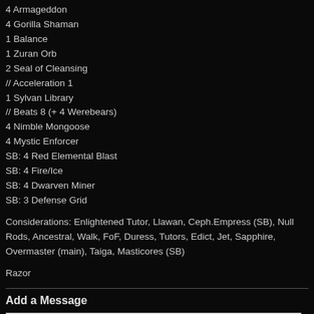4 Armageddon
4 Gorilla Shaman
1 Balance
1 Zuran Orb
2 Seal of Cleansing
// Acceleration 1
1 Sylvan Library
// Beats 8 (+ 4 Werebears)
4 Nimble Mongoose
4 Mystic Enforcer
SB: 4 Red Elemental Blast
SB: 4 Fire/Ice
SB: 4 Dwarven Miner
SB: 3 Defense Grid
Considerations: Enlightened Tutor, Llawan, Ceph.Empress (SB), Null Rods, Ancestral, Walk, FoF, Duress, Tutors, Edict, Jet, Sapphire, Overmaster (main), Taiga, Masticores (SB)
Razor
Add a Message